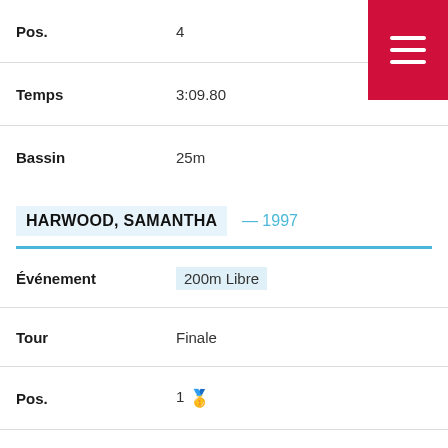Pos. — 4
Temps — 3:09.80
Bassin — 25m
HARWOOD, SAMANTHA — 1997
Événement — 200m Libre
Tour — Finale
Pos. — 1 🥇
Temps — 2:25.59
Bassin — 25m